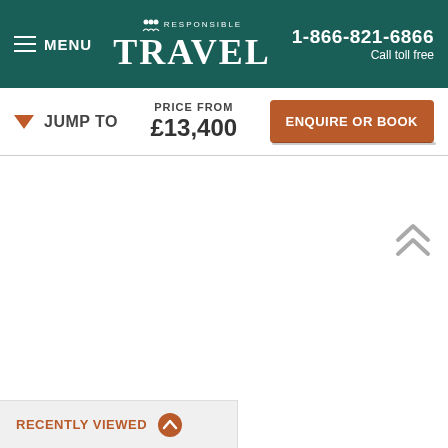MENU | RESPONSIBLE TRAVEL | 1-866-821-6866 Call toll free
JUMP TO
PRICE FROM £13,400
ENQUIRE OR BOOK
RECENTLY VIEWED